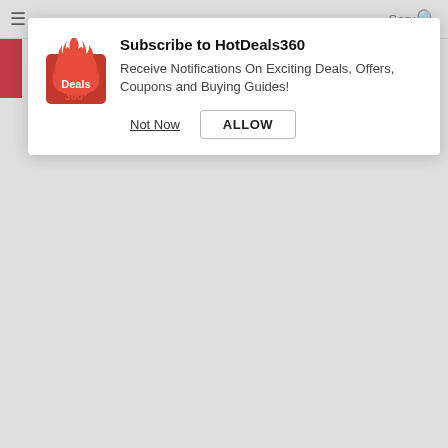[Figure (screenshot): HotDeals360 push notification subscription popup dialog with logo, title 'Subscribe to HotDeals360', description text, and 'Not Now' / 'ALLOW' buttons]
₹18,940
BUY
Key Specs
|  |  |
| --- | --- |
| Price in India | ₹18,940 |
| Display | 6.00-inch |
| Processor | Qualcomm Snapdragon 653 |